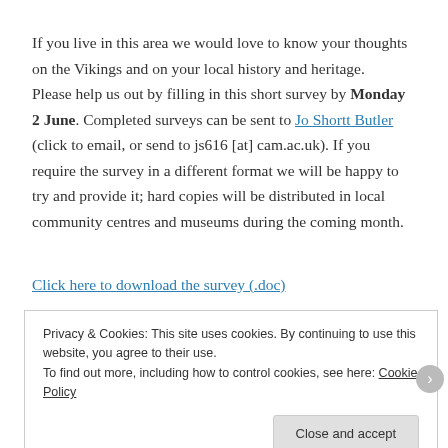If you live in this area we would love to know your thoughts on the Vikings and on your local history and heritage. Please help us out by filling in this short survey by Monday 2 June. Completed surveys can be sent to Jo Shortt Butler (click to email, or send to js616 [at] cam.ac.uk). If you require the survey in a different format we will be happy to try and provide it; hard copies will be distributed in local community centres and museums during the coming month.
Click here to download the survey (.doc)
Privacy & Cookies: This site uses cookies. By continuing to use this website, you agree to their use.
To find out more, including how to control cookies, see here: Cookie Policy
Close and accept